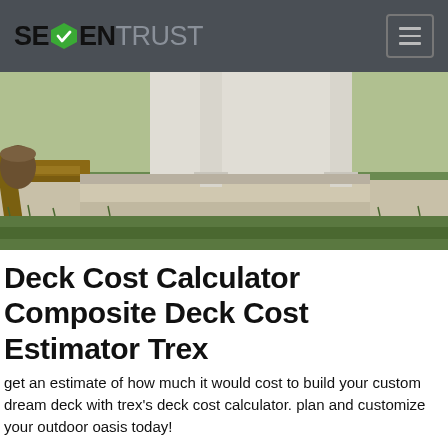SEVENTRUST
[Figure (photo): Outdoor photo showing a deck foundation/base structure with concrete steps, wooden framing boards, grass, and house exterior columns in the background.]
Deck Cost Calculator Composite Deck Cost Estimator Trex
get an estimate of how much it would cost to build your custom dream deck with trex's deck cost calculator. plan and customize your outdoor oasis today!
Cost To Build A Composite Deck: Deck Pricing Trex